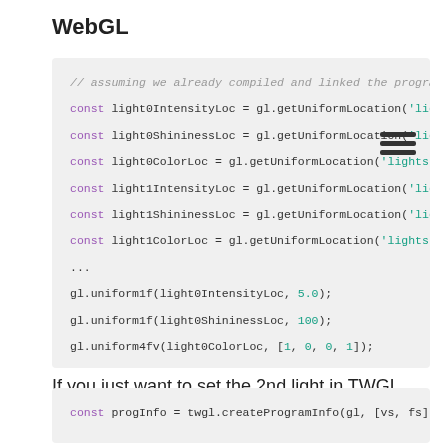WebGL
[Figure (screenshot): Code block showing WebGL JavaScript code for getting uniform locations and setting uniform values for lights using gl.getUniformLocation and gl.uniform1f/gl.uniform4fv calls.]
If you just want to set the 2nd light in TWGL you can do this
[Figure (screenshot): Code block showing: const progInfo = twgl.createProgramInfo(gl, [vs, fs]);]